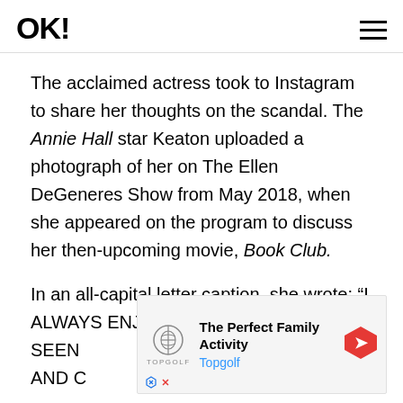OK!
The acclaimed actress took to Instagram to share her thoughts on the scandal. The Annie Hall star Keaton uploaded a photograph of her on The Ellen DeGeneres Show from May 2018, when she appeared on the program to discuss her then-upcoming movie, Book Club.
In an all-capital letter caption, she wrote: “I ALWAYS ENJOY [partially obscured] E SEEN [partially obscured] ESS AND C[partially obscured] NY
[Figure (other): Advertisement overlay for Topgolf: The Perfect Family Activity, with Topgolf logo and navigation arrow icon]